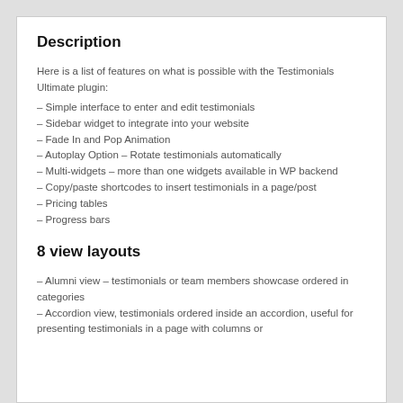Description
Here is a list of features on what is possible with the Testimonials Ultimate plugin:
– Simple interface to enter and edit testimonials
– Sidebar widget to integrate into your website
– Fade In and Pop Animation
– Autoplay Option – Rotate testimonials automatically
– Multi-widgets – more than one widgets available in WP backend
– Copy/paste shortcodes to insert testimonials in a page/post
– Pricing tables
– Progress bars
8 view layouts
– Alumni view – testimonials or team members showcase ordered in categories
– Accordion view, testimonials ordered inside an accordion, useful for presenting testimonials in a page with columns or